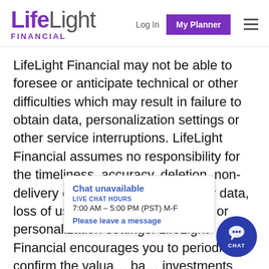LifeLight Financial | Log In | My Planner
LifeLight Financial may not be able to foresee or anticipate technical or other difficulties which may result in failure to obtain data, personalization settings or other service interruptions. LifeLight Financial assumes no responsibility for the timeliness, accuracy, deletion, non-delivery or failure to store any user data, loss of user data, communications or personalization settings. LifeLight Financial encourages you to periodically confirm the valua... ba... investments thro... su... an investment advisor, broker-dealer or other
Chat unavailable
LIVE CHAT HOURS
7:00 AM – 5:00 PM (PST) M-F
Please leave a message